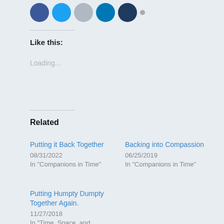[Figure (other): Social media sharing icons: Facebook (blue), Twitter (blue), Email (light gray), LinkedIn (blue), Pinterest/dark (dark navy), and a small gray dot]
Like this:
Loading...
Related
Putting it Back Together
08/31/2022
In "Companions in Time"
Backing into Compassion
06/25/2019
In "Companions in Time"
Putting Humpty Dumpty Together Again.
11/27/2018
In "Time, Space, and Knowledge"